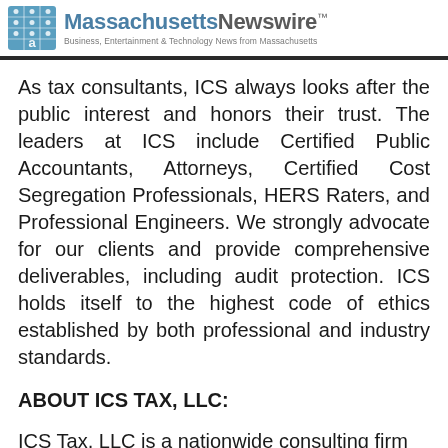Massachusetts Newswire™ — Business, Entertainment & Technology News from Massachusetts
As tax consultants, ICS always looks after the public interest and honors their trust. The leaders at ICS include Certified Public Accountants, Attorneys, Certified Cost Segregation Professionals, HERS Raters, and Professional Engineers. We strongly advocate for our clients and provide comprehensive deliverables, including audit protection. ICS holds itself to the highest code of ethics established by both professional and industry standards.
ABOUT ICS TAX, LLC:
ICS Tax, LLC is a nationwide consulting firm